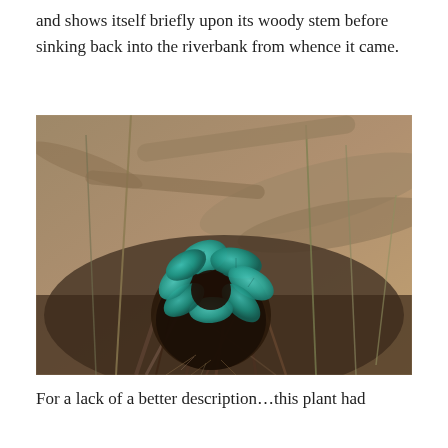and shows itself briefly upon its woody stem before sinking back into the riverbank from whence it came.
[Figure (photo): Close-up photograph of a small plant with teal/turquoise-green rounded leaves emerging from a tangled mass of roots, dry grass, and woody debris on a riverbank.]
For a lack of a better description…this plant had